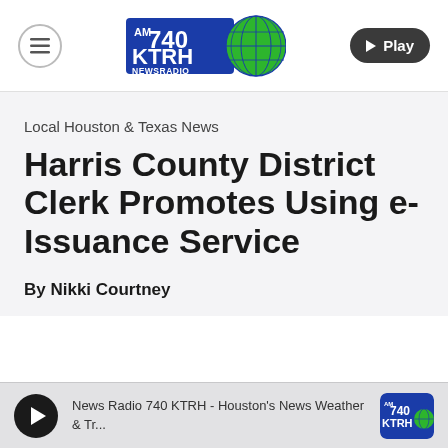AM 740 KTRH NEWSRADIO
Local Houston & Texas News
Harris County District Clerk Promotes Using e-Issuance Service
By Nikki Courtney
News Radio 740 KTRH - Houston's News Weather & Tr...